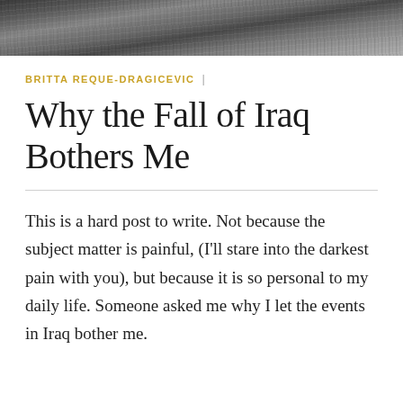[Figure (photo): Black and white photograph cropped at top of page, showing figures on ground in a war/conflict scene.]
BRITTA REQUE-DRAGICEVIC  |
Why the Fall of Iraq Bothers Me
This is a hard post to write. Not because the subject matter is painful, (I'll stare into the darkest pain with you), but because it is so personal to my daily life. Someone asked me why I let the events in Iraq bother me.